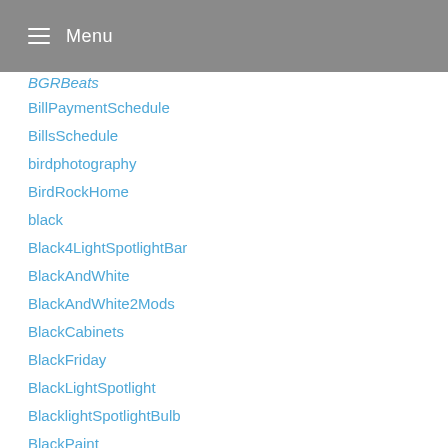Menu
BGRBeats
BillPaymentSchedule
BillsSchedule
birdphotography
BirdRockHome
black
Black4LightSpotlightBar
BlackAndWhite
BlackAndWhite2Mods
BlackCabinets
BlackFriday
BlackLightSpotlight
BlacklightSpotlightBulb
BlackPaint
Blades
Blog
Blogging